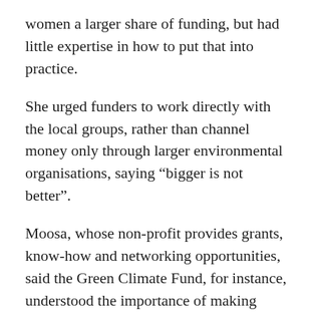women a larger share of funding, but had little expertise in how to put that into practice.
She urged funders to work directly with the local groups, rather than channel money only through larger environmental organisations, saying “bigger is not better”.
Moosa, whose non-profit provides grants, know-how and networking opportunities, said the Green Climate Fund, for instance, understood the importance of making funding benefit men and women equally but was still grappling with how to do it.
Finance isn’t reaching groups “that we know make a difference at community level”, she added.